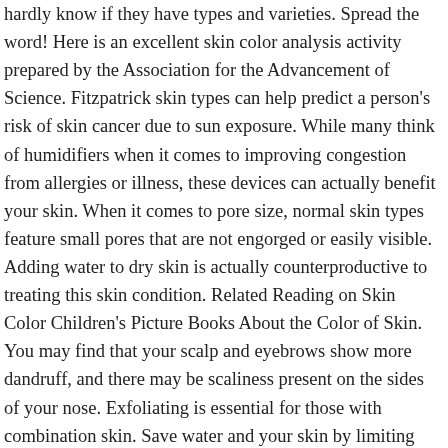hardly know if they have types and varieties. Spread the word! Here is an excellent skin color analysis activity prepared by the Association for the Advancement of Science. Fitzpatrick skin types can help predict a person's risk of skin cancer due to sun exposure. While many think of humidifiers when it comes to improving congestion from allergies or illness, these devices can actually benefit your skin. When it comes to pore size, normal skin types feature small pores that are not engorged or easily visible. Adding water to dry skin is actually counterproductive to treating this skin condition. Related Reading on Skin Color Children's Picture Books About the Color of Skin. You may find that your scalp and eyebrows show more dandruff, and there may be scaliness present on the sides of your nose. Exfoliating is essential for those with combination skin. Save water and your skin by limiting yourself to 5-minute showers and only using lukewarm to warm water. Some types of skin rash can also cause patches of discolored skin. All winter types have dark eyebrows and lashes. Fast facts. Find skin color stock images in HD and millions of other royalty-free stock photos, illustrations and vectors in the Shutterstock collection. If your hormone levels change